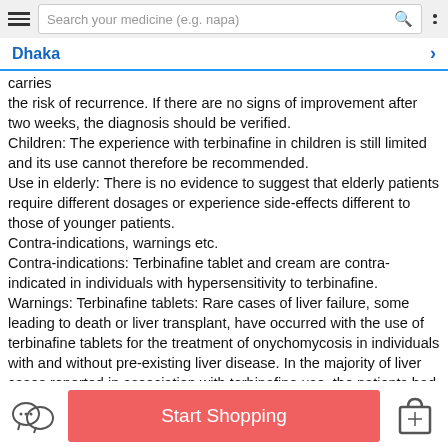Search your medicine (e.g. napa)
carries the risk of recurrence. If there are no signs of improvement after two weeks, the diagnosis should be verified. Children: The experience with terbinafine in children is still limited and its use cannot therefore be recommended. Use in elderly: There is no evidence to suggest that elderly patients require different dosages or experience side-effects different to those of younger patients. Contra-indications, warnings etc. Contra-indications: Terbinafine tablet and cream are contra-indicated in individuals with hypersensitivity to terbinafine. Warnings: Terbinafine tablets: Rare cases of liver failure, some leading to death or liver transplant, have occurred with the use of terbinafine tablets for the treatment of onychomycosis in individuals with and without pre-existing liver disease. In the majority of liver cases reported in association with terbinafine use, the patients had serious underlying systemic conditions and an uncertain causal association with terbinafine. The severity
Start Shopping